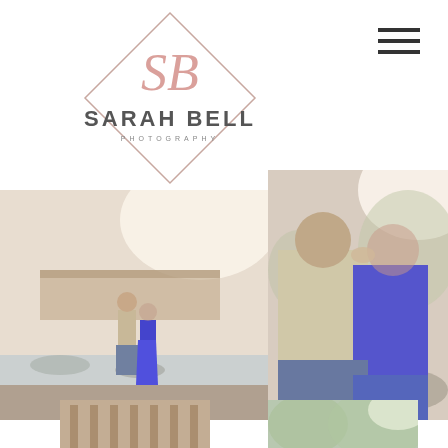[Figure (logo): Sarah Bell Photography logo: diamond shape outline with stylized 'SB' monogram in pink/rose, text 'SARAH BELL' in large letters and 'PHOTOGRAPHY' in small caps below]
[Figure (other): Hamburger menu icon: three horizontal dark lines stacked]
[Figure (photo): Engagement photo: couple standing near rocky riverside with covered bridge in background, woman in blue cold-shoulder dress, man in khaki shirt and jeans]
[Figure (photo): Engagement photo close-up: couple embracing and nearly kissing, woman in royal blue dress smiling, man holding her face, trees and rocks in background]
[Figure (photo): Partial bottom-left photo: bottom portion of engagement session near covered bridge structure]
[Figure (photo): Partial bottom-right photo: engagement session outdoor greenery background]